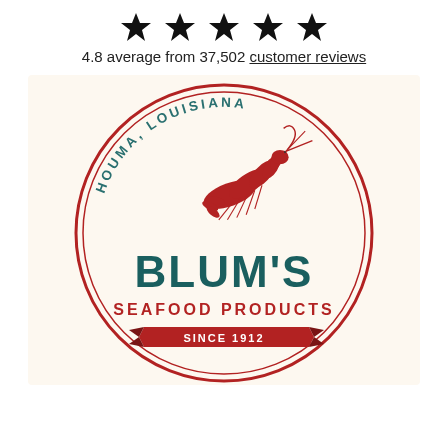[Figure (other): Five black star icons in a row representing a rating]
4.8 average from 37,502 customer reviews
[Figure (logo): Blum's Seafood Products circular logo. Features a red shrimp illustration in the center, teal text 'HOUMA, LOUISIANA' arched around the top inside a double circle border, large teal text 'BLUM'S' in the center, red text 'SEAFOOD PRODUCTS' below, and a ribbon banner at the bottom reading 'SINCE 1912'. Background is cream/off-white.]